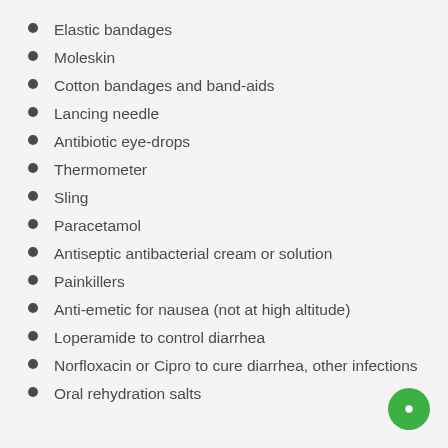Elastic bandages
Moleskin
Cotton bandages and band-aids
Lancing needle
Antibiotic eye-drops
Thermometer
Sling
Paracetamol
Antiseptic antibacterial cream or solution
Painkillers
Anti-emetic for nausea (not at high altitude)
Loperamide to control diarrhea
Norfloxacin or Cipro to cure diarrhea, other infections
Oral rehydration salts